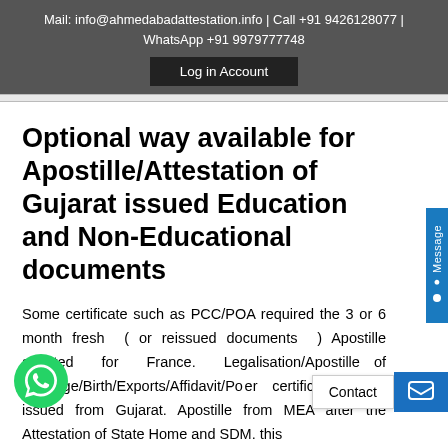Mail: info@ahmedabadattestation.info | Call +91 9426128077 | WhatsApp +91 9979777748
Log in Account
Optional way available for Apostille/Attestation of Gujarat issued Education and Non-Educational documents
Some certificate such as PCC/POA required the 3 or 6 month fresh ( or reissued documents ) Apostille attested for France. Legalisation/Apostille of Marriage/Birth/Exports/Affidavit/Po...er certificate which issued from Gujarat. Apostille from MEA after the Attestation of State Home and SDM. this